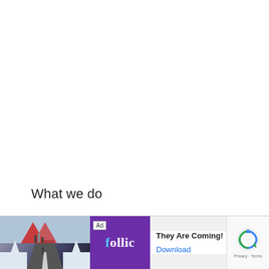What we do
Like I mentioned, we only eat raw vegetables in
group
diges
[Figure (screenshot): Browser advertisement bar at bottom: ad for 'follic' app with image of snowy road and purple logo, 'They Are Coming!' text, and Download button. reCAPTCHA logo visible at right edge.]